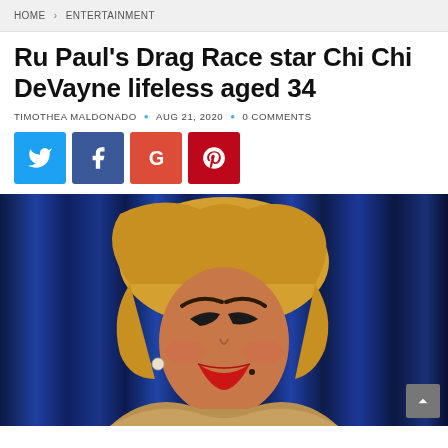HOME > ENTERTAINMENT
Ru Paul's Drag Race star Chi Chi DeVayne lifeless aged 34
TIMOTHEA MALDONADO • AUG 21, 2020 • 0 COMMENTS
[Figure (other): Social sharing buttons: Twitter (blue), Facebook (dark blue), Google+ (red), Pinterest (dark red)]
[Figure (photo): Portrait photo of Chi Chi DeVayne in drag with blonde hair, heavy makeup including red lips and dramatic eyebrows, wearing fur, against a blue velvet curtain background]